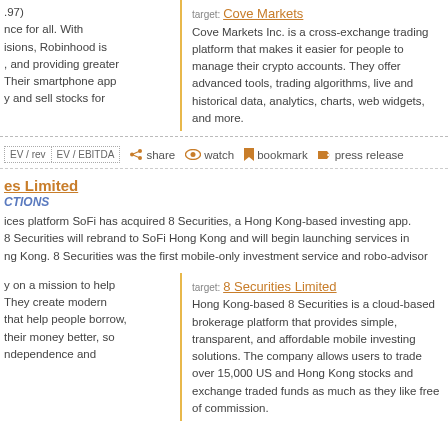.97) nce for all. With isions, Robinhood is , and providing greater Their smartphone app y and sell stocks for
target: Cove Markets
Cove Markets Inc. is a cross-exchange trading platform that makes it easier for people to manage their crypto accounts. They offer advanced tools, trading algorithms, live and historical data, analytics, charts, web widgets, and more.
EV / rev | EV / EBITDA   share   watch   bookmark   press release
es Limited
CTIONS
ices platform SoFi has acquired 8 Securities, a Hong Kong-based investing app. 8 Securities will rebrand to SoFi Hong Kong and will begin launching services in ng Kong. 8 Securities was the first mobile-only investment service and robo-advisor
y on a mission to help They create modern that help people borrow, their money better, so ndependence and
target: 8 Securities Limited
Hong Kong-based 8 Securities is a cloud-based brokerage platform that provides simple, transparent, and affordable mobile investing solutions. The company allows users to trade over 15,000 US and Hong Kong stocks and exchange traded funds as much as they like free of commission.